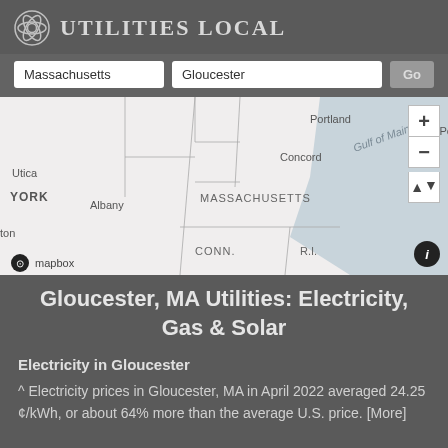Utilities Local
[Figure (map): Map showing northeastern United States including Massachusetts, Connecticut, Rhode Island, New York, and parts of Maine, with labels for Portland, Gulf of Maine, Concord, Utica, Albany, YORK, MASSACHUSETTS, CONN., R.I., ton, and mapbox attribution. Map controls show + and - zoom buttons and a compass arrow.]
Gloucester, MA Utilities: Electricity, Gas & Solar
Electricity in Gloucester
^ Electricity prices in Gloucester, MA in April 2022 averaged 24.25 ¢/kWh, or about 64% more than the average U.S. price. [More]